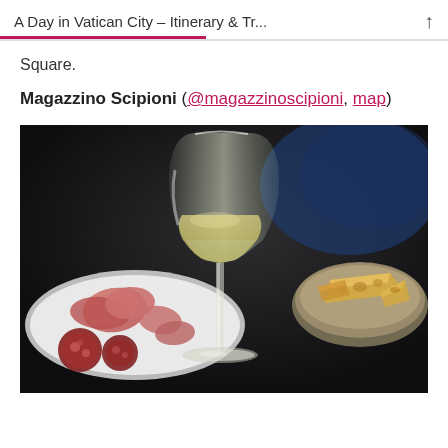A Day in Vatican City – Itinerary & Tr...
Square.
Magazzino Scipioni (@magazzinoscipioni, map)
[Figure (photo): A white wine glass filled with white wine in the foreground, with a charcuterie board featuring salami and cured meats on the left and a bowl of crackers/bread on the right, all on a dark background.]